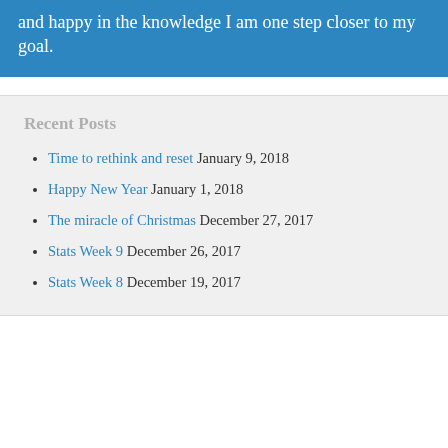and happy in the knowledge I am one step closer to my goal.
Recent Posts
Time to rethink and reset January 9, 2018
Happy New Year January 1, 2018
The miracle of Christmas December 27, 2017
Stats Week 9 December 26, 2017
Stats Week 8 December 19, 2017